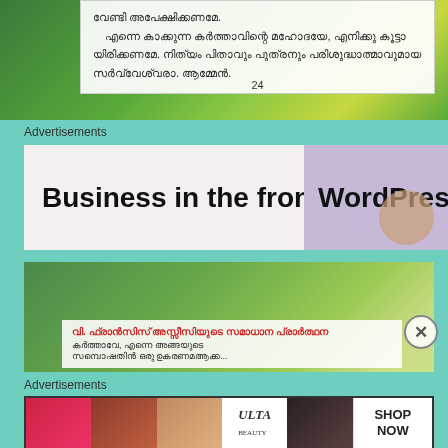[Figure (photo): Top portion of page showing a green leafy background with a white semi-transparent text box containing Malayalam text and page number 24]
വേണ്ടി അപേക്ഷിക്കണമേ. എന്നെ കാക്കുന്ന കർത്താവിന്റെ മഹോദയേ, എനിക്കു കൂട്ടായിരിക്കണമേ. നിത്യം പിതാവും പുത്രനും പരിശുദ്ധാത്മാവുമായ സർവ്വേശ്വരാ. ആമ്മേൻ. 24
Advertisements
[Figure (screenshot): Advertisement banner with white/pink background showing 'Business in the front...' text on left and 'WordPress in' text on right with purple/lavender decorative circle]
[Figure (photo): Bottom green leafy background image with white overlay box showing Malayalam text about V. Francis Assisi prayer]
Advertisements
[Figure (photo): Ulta beauty advertisement showing makeup/cosmetics images with SHOP NOW call to action]